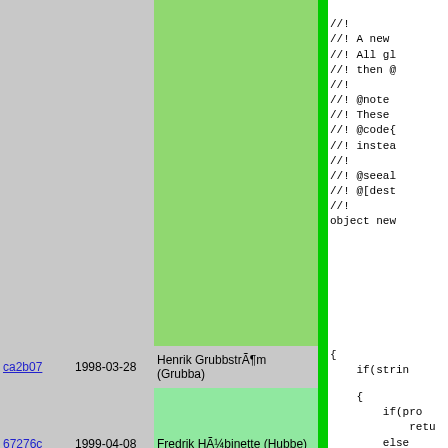//!
//! A new
//! All gl
//! then @
//!
//! @note
//! These
//! @code{
//! instea
//!
//! @seeal
//! @[dest
//!
object new
| hash | date | author |  | code |
| --- | --- | --- | --- | --- |
| ca2b07 | 1998-03-28 | Henrik GrubbstrÃ¶m (Grubba) |  | {
    if(strin |
| 67276c | 1999-04-08 | Fredrik HÃ¼binette (Hubbe) |  | {
    if(pro
        retu
    else
        erro
} |
| ca2b07 | 1998-03-28 | Henrik GrubbstrÃ¶m (Grubba) |  | return p
} |
| b07e96 | 2001-07-27 | Martin Nilsson |  | //! @decl
//! @appea
//! |